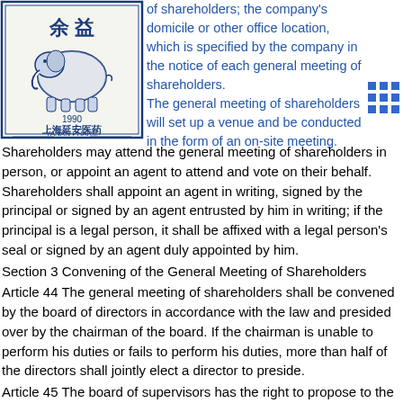[Figure (logo): Yanan Pharm company logo with elephant and Chinese text 上海延安医药 YANAN PHARM]
of shareholders; the company's domicile or other office location, which is specified by the company in the notice of each general meeting of shareholders.
The general meeting of shareholders will set up a venue and be conducted in the form of an on-site meeting.
Shareholders may attend the general meeting of shareholders in person, or appoint an agent to attend and vote on their behalf. Shareholders shall appoint an agent in writing, signed by the principal or signed by an agent entrusted by him in writing; if the principal is a legal person, it shall be affixed with a legal person's seal or signed by an agent duly appointed by him.
Section 3 Convening of the General Meeting of Shareholders
Article 44 The general meeting of shareholders shall be convened by the board of directors in accordance with the law and presided over by the chairman of the board. If the chairman is unable to perform his duties or fails to perform his duties, more than half of the directors shall jointly elect a director to preside.
Article 45 The board of supervisors has the right to propose to the board of directors to convene an extraordinary general meeting of shareholders, and it shall propose to the board of directors in writing. The board of directors shall, in accordance with the provisions of laws, administrative regulations and the "Articles of Association", provide